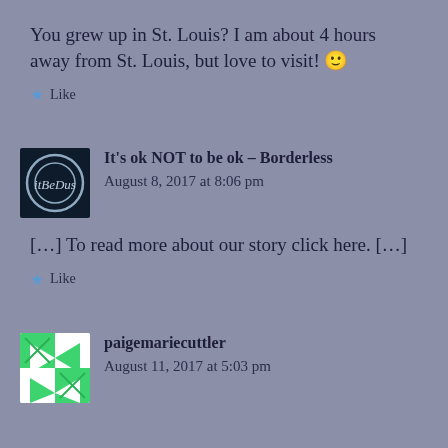You grew up in St. Louis? I am about 4 hours away from St. Louis, but love to visit! 🙂
Like
It's ok NOT to be ok – Borderless
August 8, 2017 at 8:06 pm
[…] To read more about our story click here. […]
Like
paigemariecuttler
August 11, 2017 at 5:03 pm